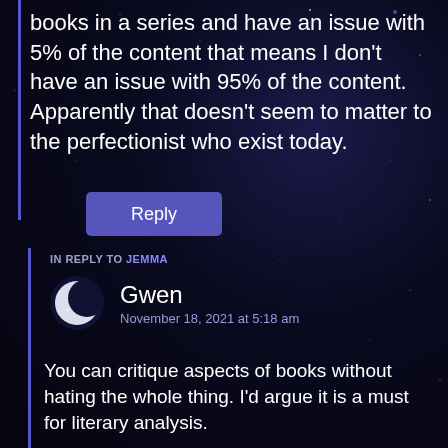books in a series and have an issue with 5% of the content that means I don't have an issue with 95% of the content. Apparently that doesn't seem to matter to the perfectionist who exist today.
Reply
IN REPLY TO JEMMA
Gwen
November 18, 2021 at 5:18 am
You can critique aspects of books without hating the whole thing. I'd argue it is a must for literary analysis.